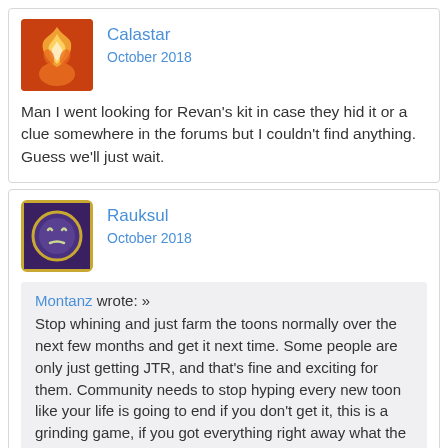Calastar
October 2018
Man I went looking for Revan's kit in case they hid it or a clue somewhere in the forums but I couldn't find anything. Guess we'll just wait.
Rauksul
October 2018
Montanz wrote: »
Stop whining and just farm the toons normally over the next few months and get it next time. Some people are only just getting JTR, and that's fine and exciting for them. Community needs to stop hyping every new toon like your life is going to end if you don't get it, this is a grinding game, if you got everything right away what the hell would you log in for. Let the whales be whales, everyone else just enjoy your natural progression in the game without spending hundreds for 1 toon that can be acquired for free through smart